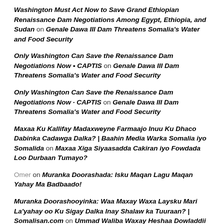Washington Must Act Now to Save Grand Ethiopian Renaissance Dam Negotiations Among Egypt, Ethiopia, and Sudan on Genale Dawa III Dam Threatens Somalia's Water and Food Security
Only Washington Can Save the Renaissance Dam Negotiations Now • CAPTIS on Genale Dawa III Dam Threatens Somalia's Water and Food Security
Only Washington Can Save the Renaissance Dam Negotiations Now · CAPTIS on Genale Dawa III Dam Threatens Somalia's Water and Food Security
Maxaa Ku Kallifay Madaxweyne Farmaajo Inuu Ku Dhaco Dabinka Cadawga Dalka? | Baahin Media Warka Somalia iyo Somalida on Maxaa Xiga Siyaasadda Cakiran iyo Fowdada Loo Durbaan Tumayo?
Omer on Muranka Doorashada: Isku Maqan Lagu Maqan Yahay Ma Badbaado!
Muranka Doorashooyinka: Waa Maxay Waxa Laysku Mari La'yahay oo Ku Sigay Dalka Inay Shalaw ka Tuuraan? | Somalisan.com on Ummad Waliba Waxay Heshaa Dowladdii ay Mudnayd!